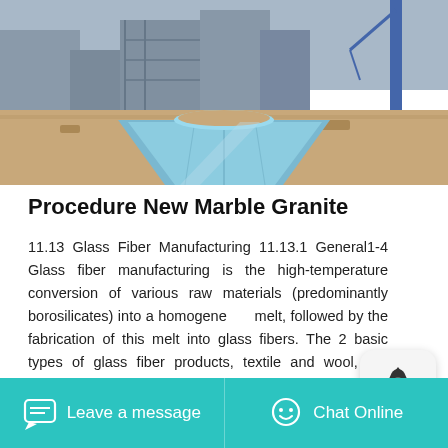[Figure (photo): Construction site photo showing sandy ground with a large light-blue conical/dome-shaped structure (likely a form or mold) in the center, with construction equipment and scaffolding in the background.]
Procedure New Marble Granite
11.13 Glass Fiber Manufacturing 11.13.1 General1-4 Glass fiber manufacturing is the high-temperature conversion of various raw materials (predominantly borosilicates) into a homogeneous melt, followed by the fabrication of this melt into glass fibers. The 2 basic types of glass fiber products, textile and wool, are manufactured by similar ... 2.3 MANUFACTURING PROCESS The manufacturing process begins with selection of raw quartz materials. They are crushed and